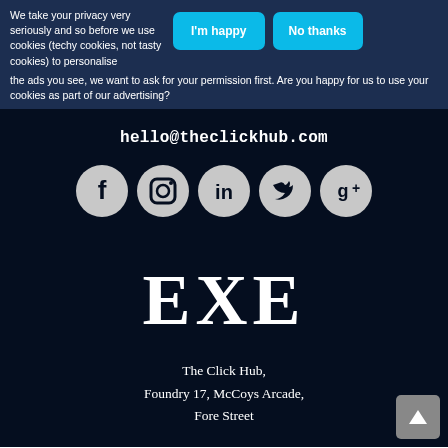We take your privacy very seriously and so before we use cookies (techy cookies, not tasty cookies) to personalise the ads you see, we want to ask for your permission first. Are you happy for us to use your cookies as part of our advertising?
I'm happy
No thanks
hello@theclickhub.com
[Figure (infographic): Five social media icons in grey circles: Facebook, Instagram, LinkedIn, Twitter, Google+]
EXE
The Click Hub,
Foundry 17, McCoys Arcade,
Fore Street